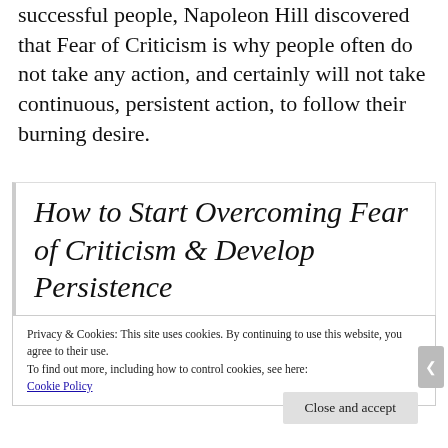successful people, Napoleon Hill discovered that Fear of Criticism is why people often do not take any action, and certainly will not take continuous, persistent action, to follow their burning desire.
How to Start Overcoming Fear of Criticism & Develop Persistence
Privacy & Cookies: This site uses cookies. By continuing to use this website, you agree to their use.
To find out more, including how to control cookies, see here:
Cookie Policy
Close and accept